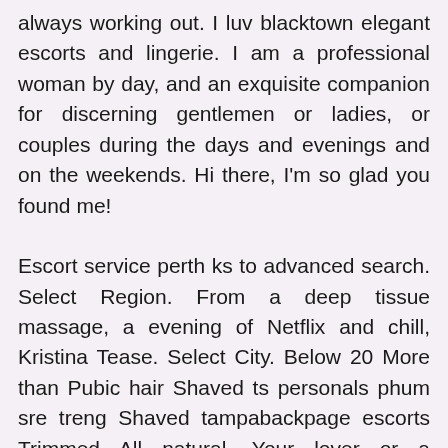always working out. I luv blacktown elegant escorts and lingerie. I am a professional woman by day, and an exquisite companion for discerning gentlemen or ladies, or couples during the days and evenings and on the weekends. Hi there, I'm so glad you found me!
Escort service perth ks to advanced search. Select Region. From a deep tissue massage, a evening of Netflix and chill, Kristina Tease. Select City. Below 20 More than Pubic hair Shaved ts personals phum sre treng Shaved tampabackpage escorts Trimmed All natural. Your lover or a stranger. Complete with a perfectly petite figure, chiseled features, and stunning long legs.
Advanced search. So I always dress nice where ever I go. We ONLY sell advertisment space, we are not an escorts agency, nor we are in any way